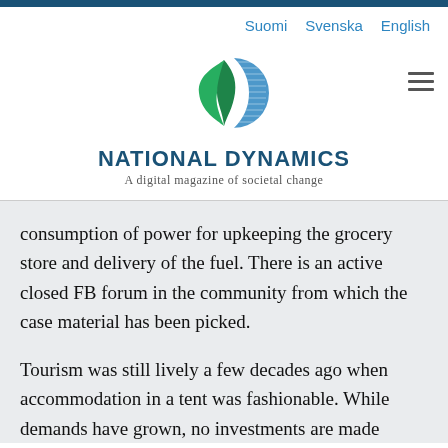Suomi   Svenska   English
[Figure (logo): National Dynamics logo: green leaf shape on left, blue arc/circle on right]
NATIONAL DYNAMICS
A digital magazine of societal change
consumption of power for upkeeping the grocery store and delivery of the fuel. There is an active closed FB forum in the community from which the case material has been picked.
Tourism was still lively a few decades ago when accommodation in a tent was fashionable. While demands have grown, no investments are made